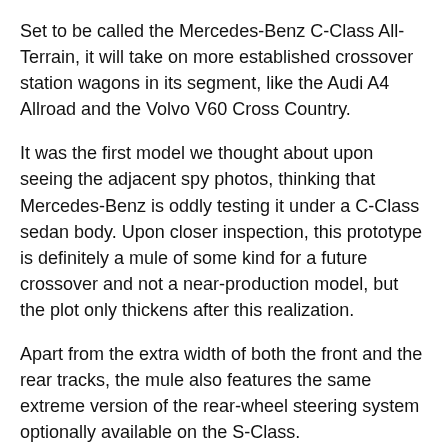Set to be called the Mercedes-Benz C-Class All-Terrain, it will take on more established crossover station wagons in its segment, like the Audi A4 Allroad and the Volvo V60 Cross Country.
It was the first model we thought about upon seeing the adjacent spy photos, thinking that Mercedes-Benz is oddly testing it under a C-Class sedan body. Upon closer inspection, this prototype is definitely a mule of some kind for a future crossover and not a near-production model, but the plot only thickens after this realization.
Apart from the extra width of both the front and the rear tracks, the mule also features the same extreme version of the rear-wheel steering system optionally available on the S-Class.
Why Mercedes-Benz didn't use a station wagon version for this peculiar mule is beyond us. Then again, this isn't the first time that the German carmaker uses the body of something unexpected to test the drivetrain of a very different model.